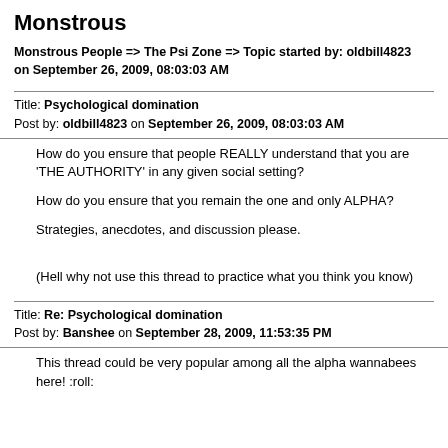Monstrous
Monstrous People => The Psi Zone => Topic started by: oldbill4823 on September 26, 2009, 08:03:03 AM
Title: Psychological domination
Post by: oldbill4823 on September 26, 2009, 08:03:03 AM
How do you ensure that people REALLY understand that you are 'THE AUTHORITY' in any given social setting?

How do you ensure that you remain the one and only ALPHA?

Strategies, anecdotes, and discussion please.

(Hell why not use this thread to practice what you think you know)
Title: Re: Psychological domination
Post by: Banshee on September 28, 2009, 11:53:35 PM
This thread could be very popular among all the alpha wannabees here! :roll: